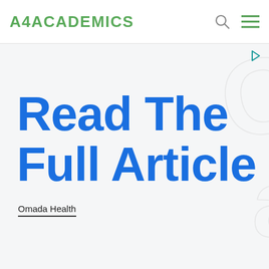A4ACADEMICS
Read The Full Article
Omada Health